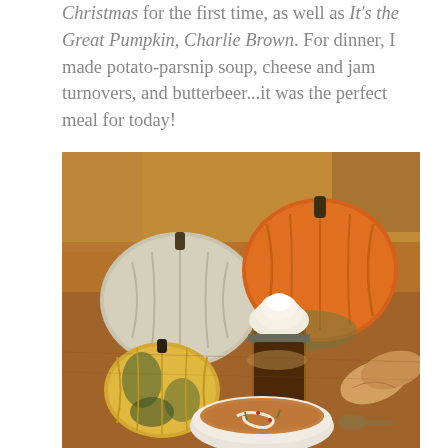Christmas for the first time, as well as It's the Great Pumpkin, Charlie Brown. For dinner, I made potato-parsnip soup, cheese and jam turnovers, and butterbeer...it was the perfect meal for today!
[Figure (photo): A cozy autumn dinner scene on a wooden table featuring two large pumpkins (one white/grey, one orange-green), a small decorative gourd, a mason jar with whipped cream and dark liquid (butterbeer), a white bowl of potato-parsnip soup with cream swirl and herbs, and pastry turnovers on the side.]